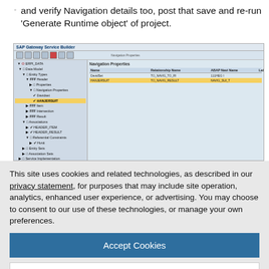and verify Navigation details too, post that save and re-run 'Generate Runtime object' of project.
[Figure (screenshot): SAP Gateway Service Builder screenshot showing Navigation Properties panel with tree navigation on left and a table on right displaying Name, Relationship Name, ABAP Navi Name, Label columns with rows including DavidSet and HANJERSET highlighted in yellow.]
This site uses cookies and related technologies, as described in our privacy statement, for purposes that may include site operation, analytics, enhanced user experience, or advertising. You may choose to consent to our use of these technologies, or manage your own preferences.
Accept Cookies
More Information
Privacy Policy | Powered by: TrustArc
DPC (Data provider class) – used to code our 'CRUDO'